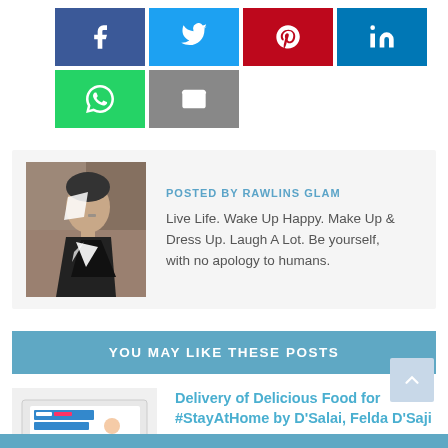[Figure (infographic): Social share buttons: Facebook (blue), Twitter (light blue), Pinterest (red), LinkedIn (dark blue), WhatsApp (green), Email (gray)]
[Figure (photo): Author photo - person in artistic black and white makeup/outfit against textured background]
POSTED BY RAWLINS GLAM
Live Life. Wake Up Happy. Make Up & Dress Up. Laugh A Lot. Be yourself, with no apology to humans.
YOU MAY LIKE THESE POSTS
[Figure (illustration): Illustration for Just Stay At Home post - showing person at desk with audience]
Delivery of Delicious Food for #StayAtHome by D'Salai, Felda D'Saji
March 19, 2020